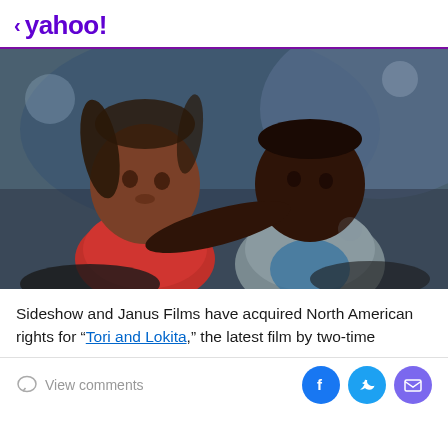< yahoo!
[Figure (photo): Two young African children, a girl and a boy, sitting in what appears to be a vehicle. The girl on the left wears a red top and looks to the side. The boy on the right in a grey jacket has his arm around the girl's shoulder.]
Sideshow and Janus Films have acquired North American rights for “Tori and Lokita,” the latest film by two-time
View comments